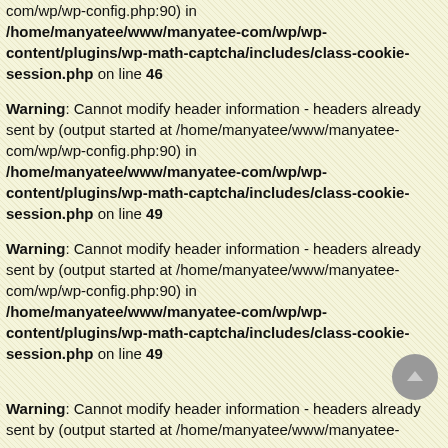com/wp/wp-config.php:90) in /home/manyatee/www/manyatee-com/wp/wp-content/plugins/wp-math-captcha/includes/class-cookie-session.php on line 46
Warning: Cannot modify header information - headers already sent by (output started at /home/manyatee/www/manyatee-com/wp/wp-config.php:90) in /home/manyatee/www/manyatee-com/wp/wp-content/plugins/wp-math-captcha/includes/class-cookie-session.php on line 49
Warning: Cannot modify header information - headers already sent by (output started at /home/manyatee/www/manyatee-com/wp/wp-config.php:90) in /home/manyatee/www/manyatee-com/wp/wp-content/plugins/wp-math-captcha/includes/class-cookie-session.php on line 49
Warning: Cannot modify header information - headers already sent by (output started at /home/manyatee/www/manyatee-